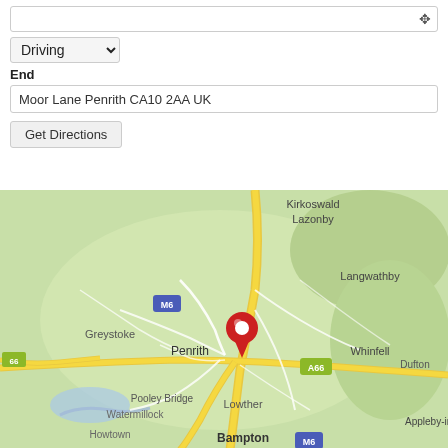(empty input field with crosshair icon)
Driving (dropdown)
End
Moor Lane Penrith CA10 2AA UK
Get Directions
[Figure (map): Google Maps showing Penrith area in Cumbria, UK. Shows locations: Kirkoswald, Lazonby, Langwathby, Greystoke, Penrith (with red location pin), Whinfell, Dufton, Pooley Bridge, Watermillock, Lowther, Howtown, Bampton, Appleby-in-Westmorland (partial). Road markers: M6, A66, 66. Yellow roads indicate major routes; background is light green terrain.]